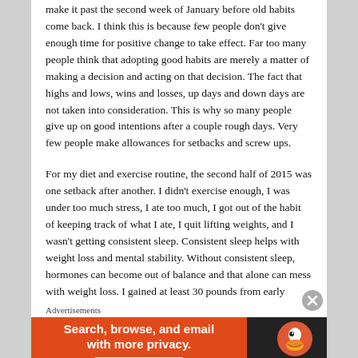make it past the second week of January before old habits come back.  I think this is because few people don't give enough time for positive change to take effect.  Far too many people think that adopting good habits are merely a matter of making a decision and acting on that decision.  The fact that highs and lows, wins and losses, up days and down days are not taken into consideration.  This is why so many people give up on good intentions after a couple rough days.  Very few people make allowances for setbacks and screw ups.
For my diet and exercise routine, the second half of 2015 was one setback after another.  I didn't exercise enough, I was under too much stress, I ate too much, I got out of the habit of keeping track of what I ate, I quit lifting weights, and I wasn't getting consistent sleep. Consistent sleep helps with weight loss and mental stability.  Without consistent sleep, hormones can become out of balance and that alone can mess with weight loss.  I gained at least 30 pounds from early
Advertisements
[Figure (screenshot): DuckDuckGo advertisement banner: orange left panel with text 'Search, browse, and email with more privacy. All in One Free App' and dark right panel with DuckDuckGo duck logo and brand name.]